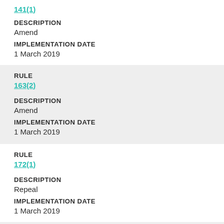141(1)
DESCRIPTION
Amend
IMPLEMENTATION DATE
1 March 2019
RULE
163(2)
DESCRIPTION
Amend
IMPLEMENTATION DATE
1 March 2019
RULE
172(1)
DESCRIPTION
Repeal
IMPLEMENTATION DATE
1 March 2019
RULE